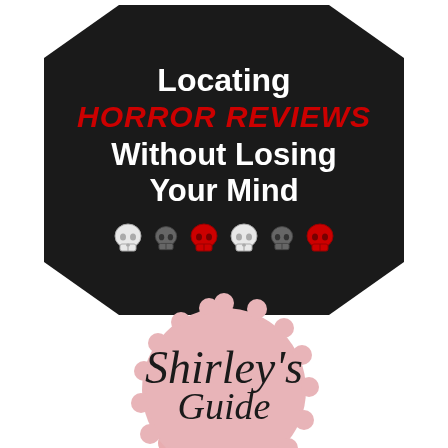[Figure (illustration): Black octagon-shaped graphic with text 'Locating HORROR REVIEWS Without Losing Your Mind' and six skull emoji icons (white, gray, red, white, gray, red)]
[Figure (illustration): Pink scalloped/rosette badge shape with cursive text 'Shirley's' partially visible]